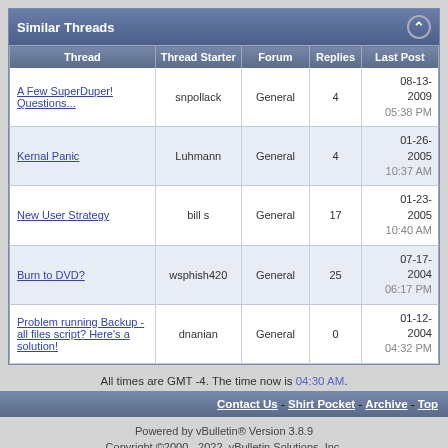| Thread | Thread Starter | Forum | Replies | Last Post |
| --- | --- | --- | --- | --- |
| A Few SuperDuper! Questions... | snpollack | General | 4 | 08-13-2009 05:38 PM |
| Kernal Panic | Luhmann | General | 4 | 01-26-2005 10:37 AM |
| New User Strategy | bill s | General | 17 | 01-23-2005 10:40 AM |
| Burn to DVD? | wsphish420 | General | 25 | 07-17-2004 06:17 PM |
| Problem running Backup - all files script? Here's a solution! | dnanian | General | 0 | 01-12-2004 04:32 PM |
All times are GMT -4. The time now is 04:30 AM.
Contact Us - Shirt Pocket - Archive - Top
Powered by vBulletin® Version 3.8.9
Copyright ©2000 - 2022, vBulletin Solutions, Inc.